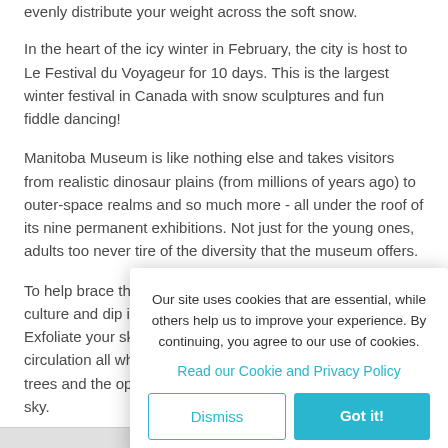evenly distribute your weight across the soft snow.
In the heart of the icy winter in February, the city is host to Le Festival du Voyageur for 10 days. This is the largest winter festival in Canada with snow sculptures and fun fiddle dancing!
Manitoba Museum is like nothing else and takes visitors from realistic dinosaur plains (from millions of years ago) to outer-space realms and so much more - all under the roof of its nine permanent exhibitions. Not just for the young ones, adults too never tire of the diversity that the museum offers.
To help brace the cold, why not indulge in some Nordic culture and dip into a hot thermal-sauna at Thermea Spa. Exfoliate your skin, relax your body and increase your blood circulation all while enjoying the beautiful scenery of pine trees and the open sky.
Compare seve... Winnipeg onli...
Health &...
Our site uses cookies that are essential, while others help us to improve your experience. By continuing, you agree to our use of cookies.

Read our Cookie and Privacy Policy

Dismiss   Got it!